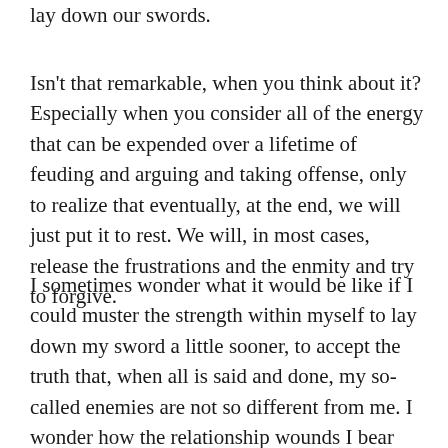lay down our swords.
Isn't that remarkable, when you think about it? Especially when you consider all of the energy that can be expended over a lifetime of feuding and arguing and taking offense, only to realize that eventually, at the end, we will just put it to rest. We will, in most cases, release the frustrations and the enmity and try to forgive.
I sometimes wonder what it would be like if I could muster the strength within myself to lay down my sword a little sooner, to accept the truth that, when all is said and done, my so-called enemies are not so different from me. I wonder how the relationship wounds I bear would